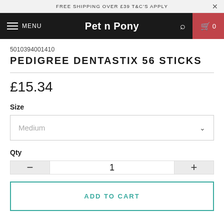FREE SHIPPING OVER £39 T&C'S APPLY
Pet n Pony
5010394001410
PEDIGREE DENTASTIX 56 STICKS
£15.34
Size
Medium
Qty
1
ADD TO CART